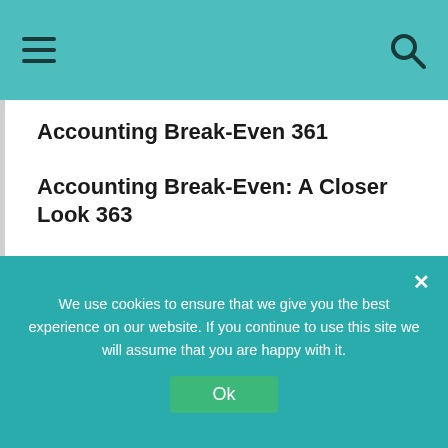☰  [header navigation bar with hamburger menu and search icon]
Accounting Break-Even 361
Accounting Break-Even: A Closer Look 363
Uses for the Accounting Break-Even 363
11.4 Operating Cash Flow, Sales Volume, and
We use cookies to ensure that we give you the best experience on our website. If you continue to use this site we will assume that you are happy with it.